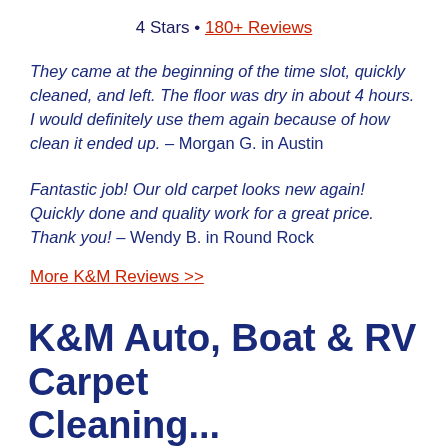4 Stars · 180+ Reviews
They came at the beginning of the time slot, quickly cleaned, and left. The floor was dry in about 4 hours. I would definitely use them again because of how clean it ended up. – Morgan G. in Austin
Fantastic job! Our old carpet looks new again! Quickly done and quality work for a great price. Thank you! – Wendy B. in Round Rock
More K&M Reviews >>
K&M Auto, Boat & RV Carpet Cleaning...